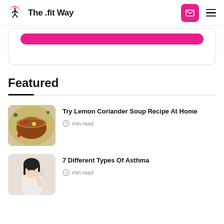The .fit Way
[Figure (screenshot): Pink button bar partially visible inside a rounded card]
Featured
[Figure (photo): Bowl of lemon coriander soup with herbs and chilies]
Try Lemon Coriander Soup Recipe At Home
min read
[Figure (photo): Young woman using an inhaler]
7 Different Types Of Asthma
min read